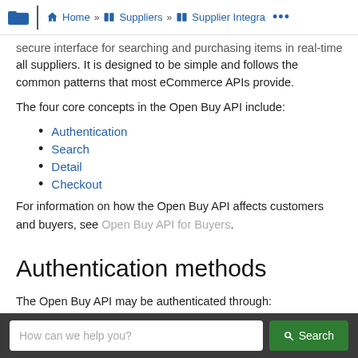Home » Suppliers » Supplier Integra ...
secure interface for searching and purchasing items in real-time for all suppliers. It is designed to be simple and follows the common patterns that most eCommerce APIs provide.
The four core concepts in the Open Buy API include:
Authentication
Search
Detail
Checkout
For information on how the Open Buy API affects customers and buyers, see Open Buy API for Buyers.
Authentication methods
The Open Buy API may be authenticated through: